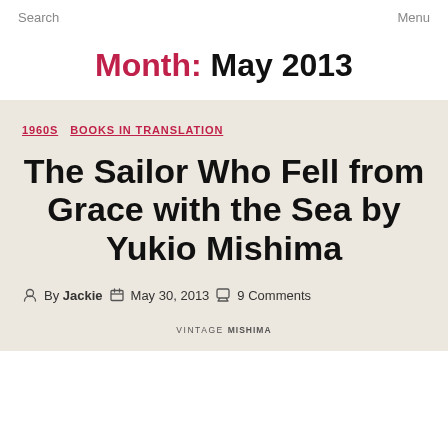Search    Menu
Month: May 2013
1960S  BOOKS IN TRANSLATION
The Sailor Who Fell from Grace with the Sea by Yukio Mishima
By Jackie  May 30, 2013  9 Comments
VINTAGE MISHIMA